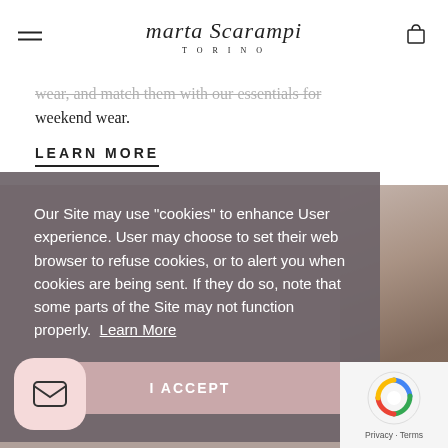marta Scarampi TORINO
wear, and match them with our essentials for weekend wear.
LEARN MORE
[Figure (photo): Bottom section showing a lifestyle/fashion photo on the right side, blurred/partial view]
Our Site may use "cookies" to enhance User experience. User may choose to set their web browser to refuse cookies, or to alert you when cookies are being sent. If they do so, note that some parts of the Site may not function properly.  Learn More
I ACCEPT